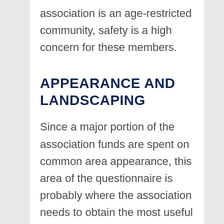association is an age-restricted community, safety is a high concern for these members.
APPEARANCE AND LANDSCAPING
Since a major portion of the association funds are spent on common area appearance, this area of the questionnaire is probably where the association needs to obtain the most useful information. It is advisable to segregate this section into